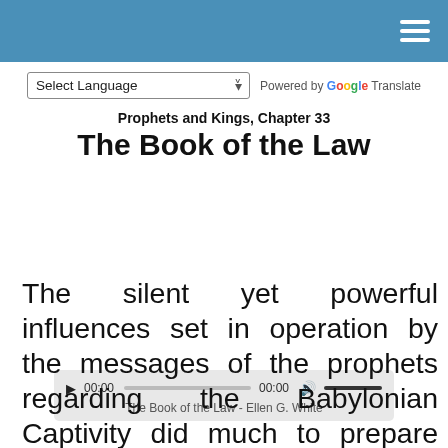Select Language  Powered by Google Translate
Prophets and Kings, Chapter 33
The Book of the Law
[Figure (other): Audio player widget showing 00:00 time stamps and progress/volume bars. Caption: The Book of the Law - Ellen G. White]
The silent yet powerful influences set in operation by the messages of the prophets regarding the Babylonian Captivity did much to prepare the way for a reformation that took place in the eighteenth